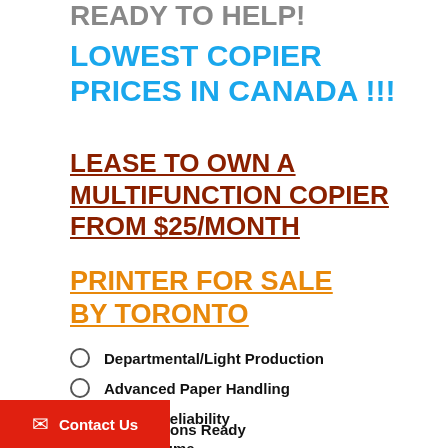READY TO HELP!
LOWEST COPIER PRICES IN CANADA !!!
LEASE TO OWN A MULTIFUNCTION COPIER FROM $25/MONTH
PRINTER FOR SALE BY TORONTO
Departmental/Light Production
Advanced Paper Handling
Proven Reliability
High Volume
ons Ready
Contact Us